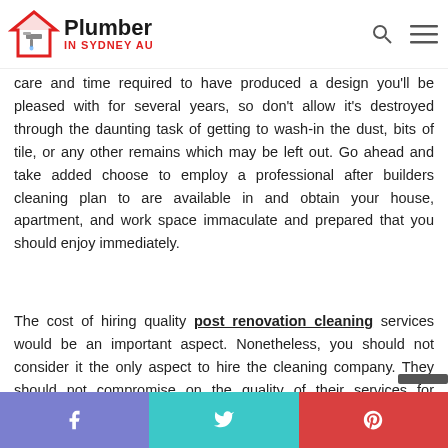Plumber IN SYDNEY AU
care and time required to have produced a design you'll be pleased with for several years, so don't allow it's destroyed through the daunting task of getting to wash-in the dust, bits of tile, or any other remains which may be left out. Go ahead and take added choose to employ a professional after builders cleaning plan to are available in and obtain your house, apartment, and work space immaculate and prepared that you should enjoy immediately.
The cost of hiring quality post renovation cleaning services would be an important aspect. Nonetheless, you should not consider it the only aspect to hire the cleaning company. They should not compromise on the quality of their services for providing cheap services.
f  t  p